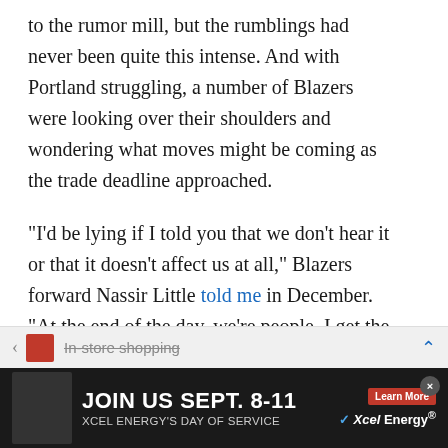to the rumor mill, but the rumblings had never been quite this intense. And with Portland struggling, a number of Blazers were looking over their shoulders and wondering what moves might be coming as the trade deadline approached.
“I’d be lying if I told you that we don’t hear it or that it doesn’t affect us at all,” Blazers forward Nassir Little told me in December. “At the end of the day, we’re people. I get the excitement of trades and the eagerness to talk about them, but you’re talking about people having to move their families and basically break off relationships that they’ve built over the course of the time and they have to start a whole moving process and adapt to a whole new
JOIN US SEPT. 8-11 | XCEL ENERGY'S DAY OF SERVICE